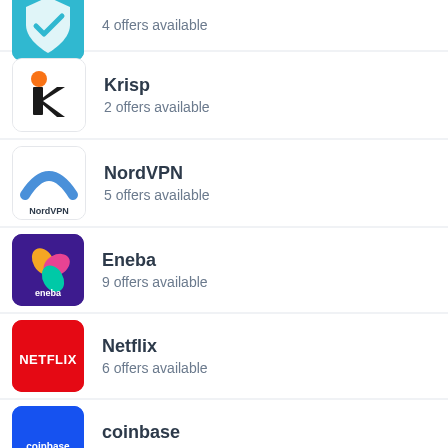4 offers available
Krisp
2 offers available
NordVPN
5 offers available
Eneba
9 offers available
Netflix
6 offers available
coinbase
5 offers available